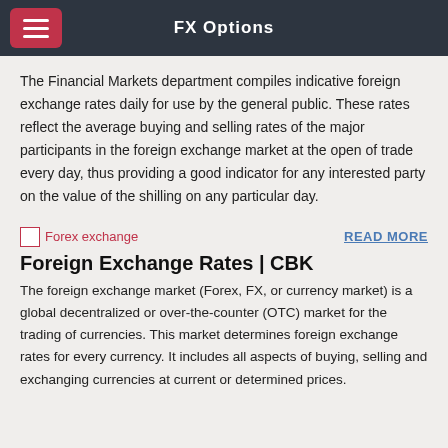FX Options
The Financial Markets department compiles indicative foreign exchange rates daily for use by the general public. These rates reflect the average buying and selling rates of the major participants in the foreign exchange market at the open of trade every day, thus providing a good indicator for any interested party on the value of the shilling on any particular day.
[Figure (illustration): Small image icon labeled 'Forex exchange' in red text next to a broken image placeholder]
READ MORE
Foreign Exchange Rates | CBK
The foreign exchange market (Forex, FX, or currency market) is a global decentralized or over-the-counter (OTC) market for the trading of currencies. This market determines foreign exchange rates for every currency. It includes all aspects of buying, selling and exchanging currencies at current or determined prices.